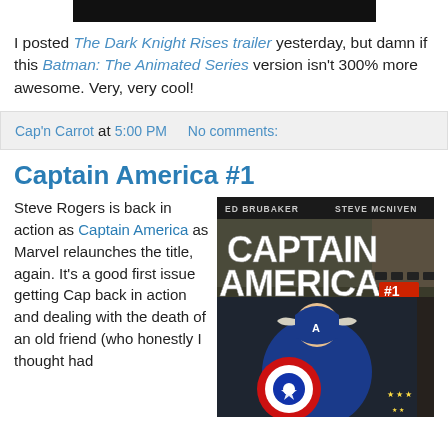[Figure (other): Black rectangular bar at top of page, likely a video thumbnail or image placeholder]
I posted The Dark Knight Rises trailer yesterday, but damn if this Batman: The Animated Series version isn't 300% more awesome. Very, very cool!
Cap'n Carrot at 5:00 PM   No comments:
Captain America #1
Steve Rogers is back in action as Captain America as Marvel relaunches the title, again. It's a good first issue getting Cap back in action and dealing with the death of an old friend (who honestly I thought had
[Figure (other): Captain America #1 comic book cover by Ed Brubaker and Steve McNiven, showing Captain America in his costume with his shield]